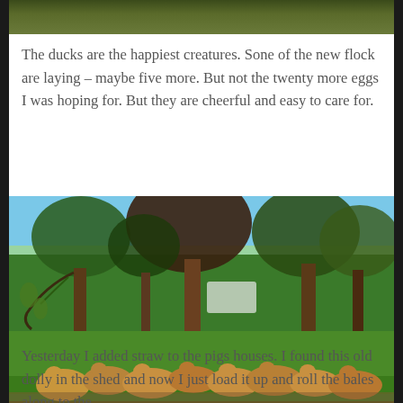[Figure (photo): Top portion of a photo showing ground vegetation and plants, partially cropped at top of page]
The ducks are the happiest creatures. Sone of the new flock are laying – maybe five more. But not the twenty more eggs I was hoping for. But they are cheerful and easy to care for.
[Figure (photo): Outdoor photo of a large flock of golden/brown ducks gathered on green grass under large shade trees on a sunny day, with a white vehicle visible in the background]
Yesterday I added straw to the pigs houses. I found this old dolly in the shed and now I just load it up and roll the bales along to the...